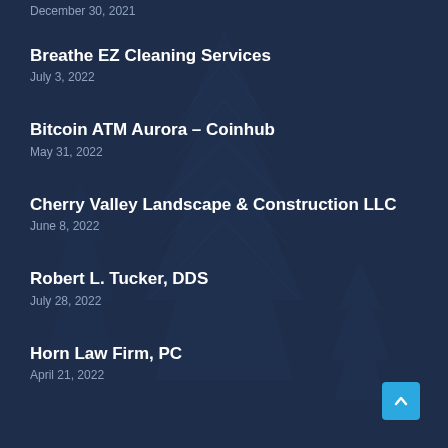December 30, 2021
Breathe EZ Cleaning Services
July 3, 2022
Bitcoin ATM Aurora – Coinhub
May 31, 2022
Cherry Valley Landscape & Construction LLC
June 8, 2022
Robert L. Tucker, DDS
July 28, 2022
Horn Law Firm, PC
April 21, 2022